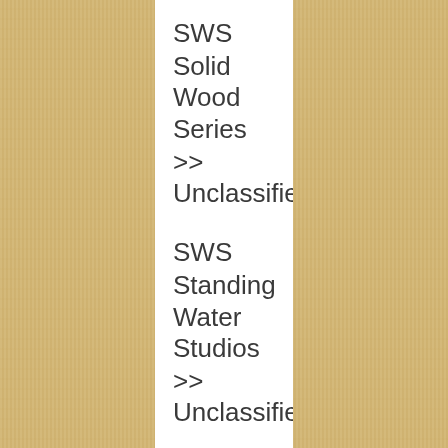SWS
Solid Wood Series
>> Unclassified
SWS
Standing Water Studios
>> Unclassified
Sapphire wall screens
>> Unclassified
SWS
Super Weevil Secrets
>> Unclassified